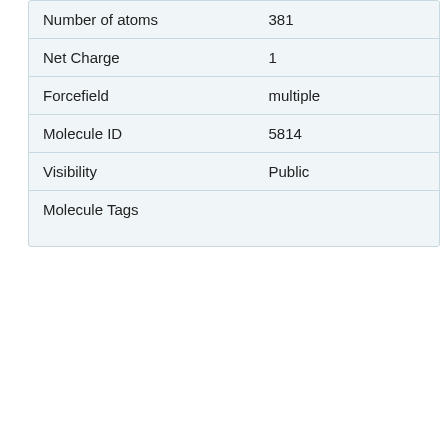| Property | Value |
| --- | --- |
| Number of atoms | 381 |
| Net Charge | 1 |
| Forcefield | multiple |
| Molecule ID | 5814 |
| Visibility | Public |
| Molecule Tags |  |
Other conformers for this molecule (1-100 of 633)
The highlighted row is the currently viewed molecule with the following conditions: Green: the current molecule has the lowest QM energy in the set. Yellow: the current molecule is within 2 kJ mol-1 of the